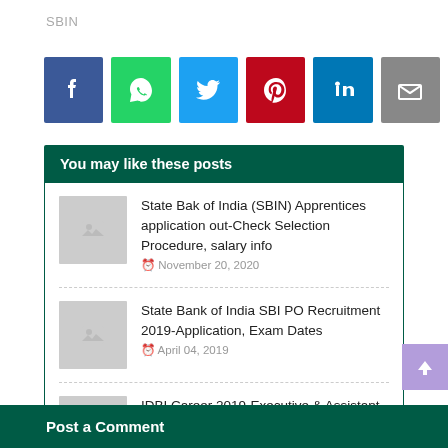SBIN
[Figure (infographic): Social share buttons: Facebook (blue), WhatsApp (green), Twitter (light blue), Pinterest (red), LinkedIn (blue), Email (grey)]
You may like these posts
State Bak of India (SBIN) Apprentices application out-Check Selection Procedure, salary info  November 20, 2020
State Bank of India SBI PO Recruitment 2019-Application, Exam Dates  April 04, 2019
IDBI Career 2019-Executive & Assistant Manager Job Application  March 30, 2019
Post a Comment